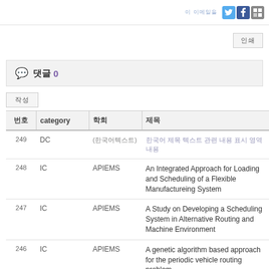소셜 아이콘 및 네비게이션
인쇄
댓글 0
작성
| 번호 | category | 학회 | 제목 |
| --- | --- | --- | --- |
| 249 | DC | (한국어텍스트) | 한국어 제목 텍스트 |
| 248 | IC | APIEMS | An Integrated Approach for Loading and Scheduling of a Flexible Manufactureing System |
| 247 | IC | APIEMS | A Study on Developing a Scheduling System in Alternative Routing and Machine Environment |
| 246 | IC | APIEMS | A genetic algorithm based approach for the periodic vehicle routing problem |